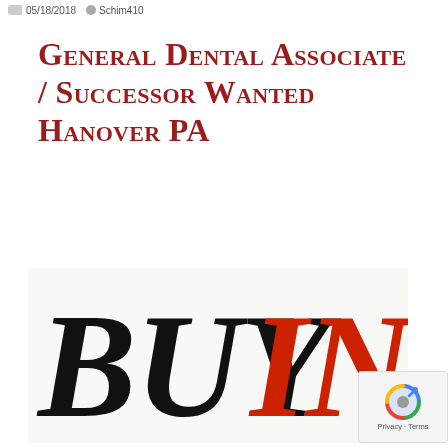05/18/2018  Schim410
General Dental Associate / Successor Wanted Hanover PA
[Figure (logo): BUYIN logo with BUY in black italic serif font and IN in red italic serif font on a light background]